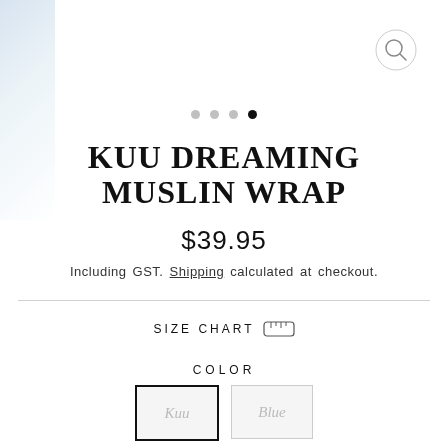[Figure (screenshot): Top-left blue gradient decorative area from product image]
[Figure (illustration): Search magnifying glass icon, circle outline, top right]
[Figure (illustration): Four dot pagination indicators, third dot active/filled black]
KUU DREAMING MUSLIN WRAP
$39.95
Including GST. Shipping calculated at checkout.
SIZE CHART 📏
COLOR
[Figure (illustration): Two color swatches: first selected (black border) labelled 'Kuu', second grey labelled 'Blue']